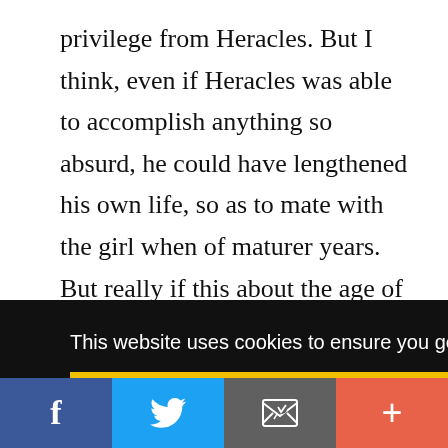privilege from Heracles. But I think, even if Heracles was able to accomplish anything so absurd, he could have lengthened his own life, so as to mate with the girl when of maturer years. But really if this about the age of the girls in this district is true, it seems to me to tend the same way as the men's age, since the oldest of them die
[Figure (screenshot): Cookie consent banner with black background. Text reads 'This website uses cookies to ensure you get the best experience on our website.' with a yellow 'Got it!' button below.]
[Figure (screenshot): Social sharing bar at bottom with four buttons: Facebook (blue), Twitter (light blue), Email (gray), and Add/Plus (coral/red).]